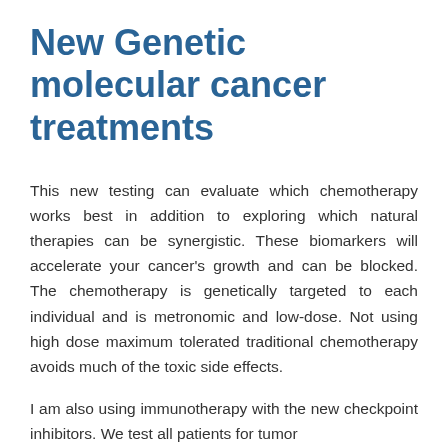New Genetic molecular cancer treatments
This new testing can evaluate which chemotherapy works best in addition to exploring which natural therapies can be synergistic. These biomarkers will accelerate your cancer's growth and can be blocked. The chemotherapy is genetically targeted to each individual and is metronomic and low-dose. Not using high dose maximum tolerated traditional chemotherapy avoids much of the toxic side effects.
I am also using immunotherapy with the new checkpoint inhibitors. We test all patients for tumor